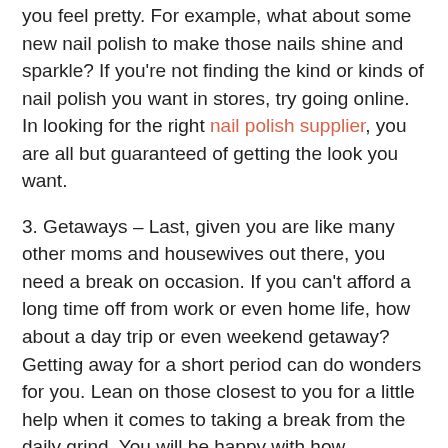you feel pretty. For example, what about some new nail polish to make those nails shine and sparkle? If you're not finding the kind or kinds of nail polish you want in stores, try going online. In looking for the right nail polish supplier, you are all but guaranteed of getting the look you want.
3. Getaways – Last, given you are like many other moms and housewives out there, you need a break on occasion. If you can't afford a long time off from work or even home life, how about a day trip or even weekend getaway? Getting away for a short period can do wonders for you. Lean on those closest to you for a little help when it comes to taking a break from the daily grind. You will be happy with how refreshed you will feel when you return from your getaway.
Given the physical and emotional problems that stress can